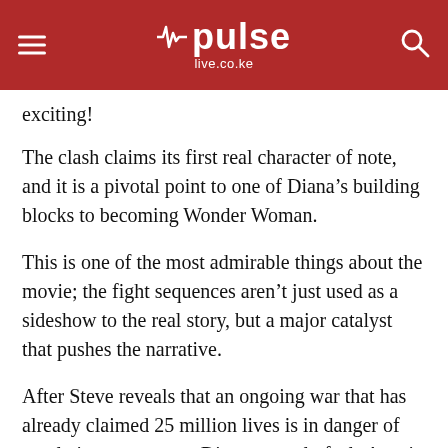pulse live.co.ke
exciting!
The clash claims its first real character of note, and it is a pivotal point to one of Diana’s building blocks to becoming Wonder Woman.
This is one of the most admirable things about the movie; the fight sequences aren’t just used as a sideshow to the real story, but a major catalyst that pushes the narrative.
After Steve reveals that an ongoing war that has already claimed 25 million lives is in danger of escalating even more, Diana strongly feels Ares is back to continue his reign of destruction, and against the wishes of her mother, Queen Hippolyta (Connie Nielsen), she travels with Steve to 1918-era London to put an end to the war with a